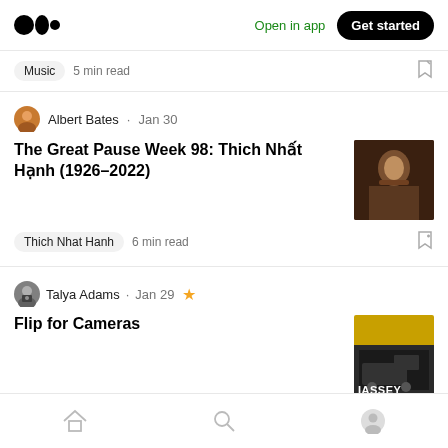Medium logo | Open in app | Get started
Music  5 min read
Albert Bates · Jan 30
The Great Pause Week 98: Thich Nhất Hạnh (1926–2022)
Thich Nhat Hanh  6 min read
Talya Adams · Jan 29 ★
Flip for Cameras
Photography  5 min read
Home | Search | Profile